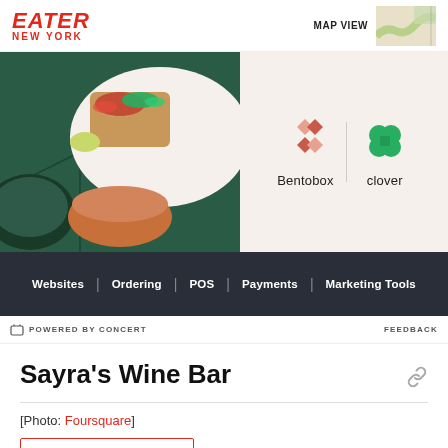EATER NEW YORK | MAP VIEW
[Figure (photo): Food photo showing tacos and dipping sauce on green tiled surface]
[Figure (logo): Bentobox and Clover advertisement logos with divider]
[Figure (other): Navigation bar: Websites | Ordering | POS | Payments | Marketing Tools]
POWERED BY CONCERT | FEEDBACK
Sayra's Wine Bar
[Photo: Foursquare]
OPEN IN GOOGLE MAPS